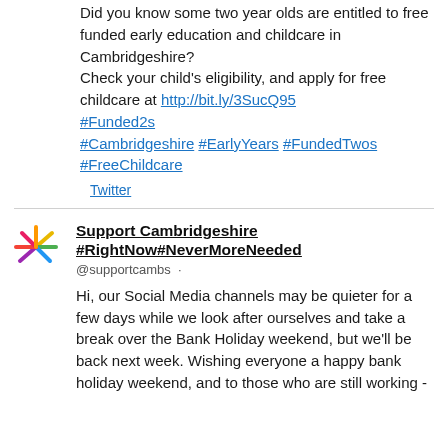Did you know some two year olds are entitled to free funded early education and childcare in Cambridgeshire? Check your child's eligibility, and apply for free childcare at http://bit.ly/3SucQ95 #Funded2s #Cambridgeshire #EarlyYears #FundedTwos #FreeChildcare
Twitter
Support Cambridgeshire #RightNow#NeverMoreNeeded
@supportcambs
Hi, our Social Media channels may be quieter for a few days while we look after ourselves and take a break over the Bank Holiday weekend, but we'll be back next week. Wishing everyone a happy bank holiday weekend, and to those who are still working -